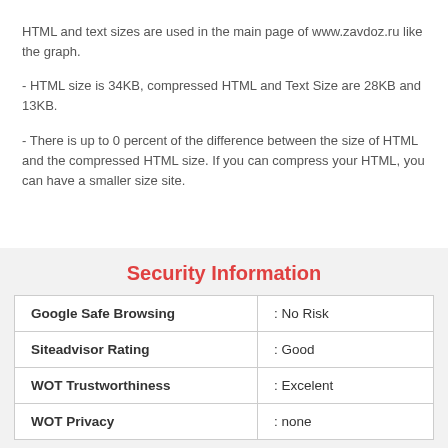HTML and text sizes are used in the main page of www.zavdoz.ru like the graph.
- HTML size is 34KB, compressed HTML and Text Size are 28KB and 13KB.
- There is up to 0 percent of the difference between the size of HTML and the compressed HTML size. If you can compress your HTML, you can have a smaller size site.
Security Information
|  |  |
| --- | --- |
| Google Safe Browsing | : No Risk |
| Siteadvisor Rating | : Good |
| WOT Trustworthiness | : Excelent |
| WOT Privacy | : none |